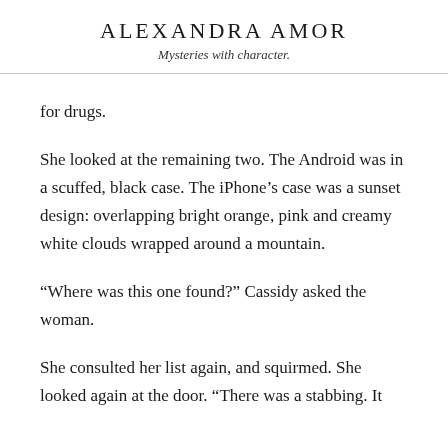ALEXANDRA AMOR
Mysteries with character.
for drugs.
She looked at the remaining two. The Android was in a scuffed, black case. The iPhone’s case was a sunset design: overlapping bright orange, pink and creamy white clouds wrapped around a mountain.
“Where was this one found?” Cassidy asked the woman.
She consulted her list again, and squirmed. She looked again at the door. “There was a stabbing. It